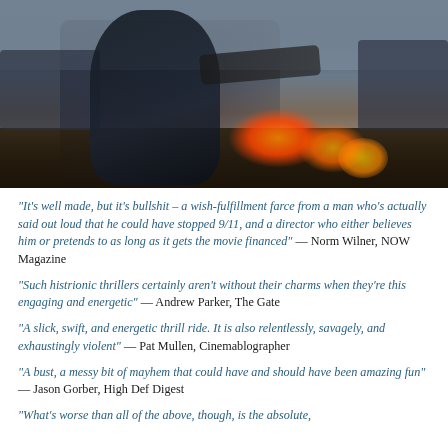[Figure (photo): Action scene with a man in a dark jacket aiming a weapon, with burning vehicles and fire in the background on a grey, smoky battlefield setting.]
“It’s well made, but it’s bullshit – a wish-fulfillment farce from a man who’s actually said out loud that he could have stopped 9/11, and a director who either believes him or pretends to as long as it gets the movie financed” — Norm Wilner, NOW Magazine
“Such histrionic thrillers certainly aren’t without their charms when they’re this engaging and energetic” — Andrew Parker, The Gate
“A slick, swift, and energetic thrill ride. It is also relentlessly, savagely, and exhaustingly violent” — Pat Mullen, Cinemablographer
“A bust, a messy bit of mayhem that could have and should have been amazing fun” — Jason Gorber, High Def Digest
“What’s worse than all of the above, though, is the absolute,